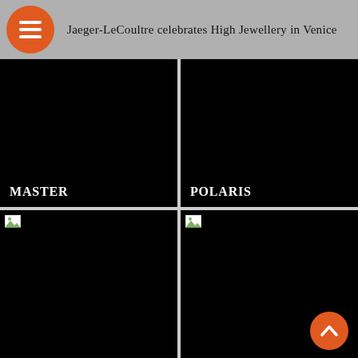Jaeger-LeCoultre celebrates High Jewellery in Venice
[Figure (photo): Dark/black image cell labeled MASTER]
[Figure (photo): Dark/black image cell labeled POLARIS]
[Figure (photo): Dark/black image cell with broken image icon (lower left)]
[Figure (photo): Dark/black image cell with broken image icon (lower right)]